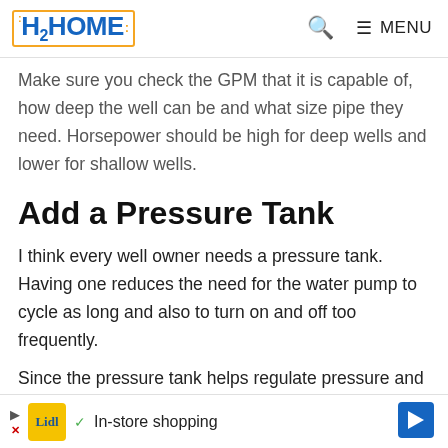H2HOME — Search — MENU
Make sure you check the GPM that it is capable of, how deep the well can be and what size pipe they need. Horsepower should be high for deep wells and lower for shallow wells.
Add a Pressure Tank
I think every well owner needs a pressure tank. Having one reduces the need for the water pump to cycle as long and also to turn on and off too frequently.
Since the pressure tank helps regulate pressure and delivers water at a set rate, it helps to control how
[Figure (other): Advertisement banner for Lidl in-store shopping with play/close controls and navigation arrow]